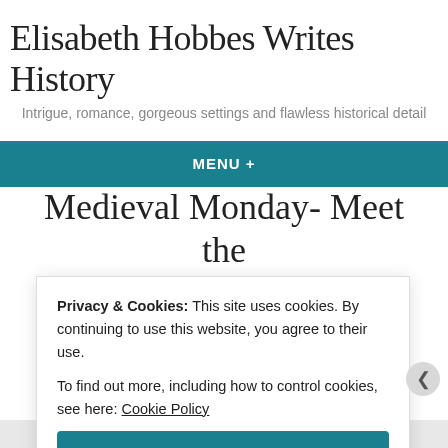Elisabeth Hobbes Writes History
Intrigue, romance, gorgeous settings and flawless historical detail
MENU +
Medieval Monday- Meet the Author
Privacy & Cookies: This site uses cookies. By continuing to use this website, you agree to their use.
To find out more, including how to control cookies, see here: Cookie Policy
Close and accept